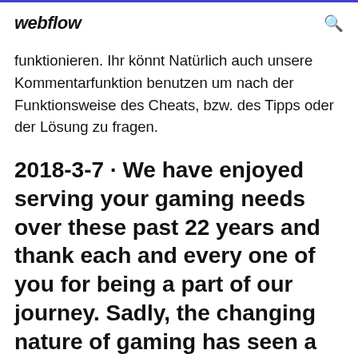webflow
funktionieren. Ihr könnt Natürlich auch unsere Kommentarfunktion benutzen um nach der Funktionsweise des Cheats, bzw. des Tipps oder der Lösung zu fragen.
2018-3-7 · We have enjoyed serving your gaming needs over these past 22 years and thank each and every one of you for being a part of our journey. Sadly, the changing nature of gaming has seen a change in focus away from cheat codes and text-based game guides, and